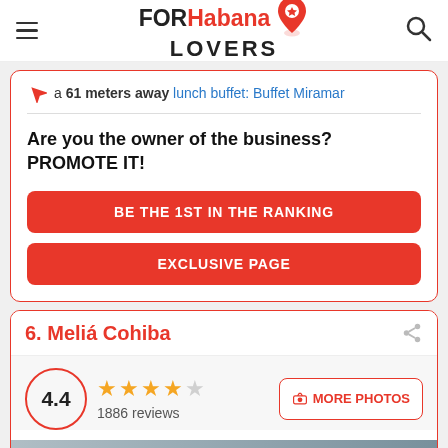FORHabana LOVERS
a 61 meters away lunch buffet: Buffet Miramar
Are you the owner of the business? PROMOTE IT!
BE THE 1ST IN THE RANKING
EXCLUSIVE PAGE
6. Meliá Cohiba
4.4 · 1886 reviews · MORE PHOTOS